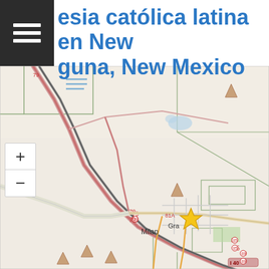esia católica latina en New guna, New Mexico
[Figure (map): OpenStreetMap-style road map centered on Grants/Milan area in New Mexico, showing Interstate 40, highways 79, 81A, 85, 89, local roads, a yellow star marker at Grants, NM, and terrain/area outlines. Map includes zoom +/- controls on the left side.]